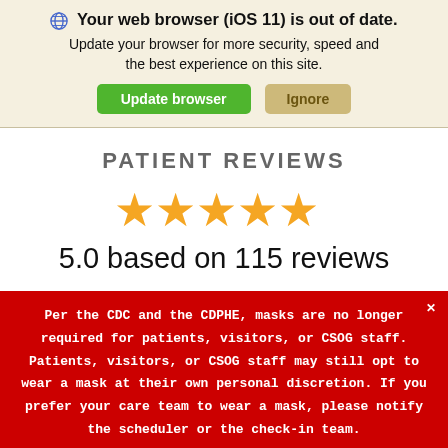🌐 Your web browser (iOS 11) is out of date. Update your browser for more security, speed and the best experience on this site.
Update browser | Ignore
PATIENT REVIEWS
[Figure (infographic): Five gold stars rating display]
5.0 based on 115 reviews
Per the CDC and the CDPHE, masks are no longer required for patients, visitors, or CSOG staff. Patients, visitors, or CSOG staff may still opt to wear a mask at their own personal discretion. If you prefer your care team to wear a mask, please notify the scheduler or the check-in team.